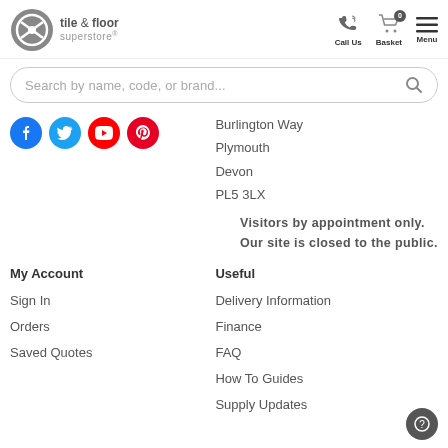[Figure (logo): Tile & Floor Superstore logo with circular icon and text]
[Figure (infographic): Navigation icons: Call Us (phone), Basket (cart with 0 badge), Menu (hamburger)]
Search by name, code, or brand...
Burlington Way
Plymouth
Devon
PL5 3LX
[Figure (infographic): Social media icons: Facebook, Twitter, YouTube, Pinterest]
Visitors by appointment only. Our site is closed to the public.
My Account
Useful
Sign In
Orders
Saved Quotes
Delivery Information
Finance
FAQ
How To Guides
Supply Updates